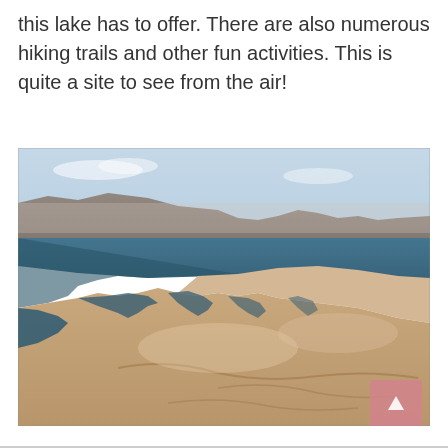this lake has to offer. There are also numerous hiking trails and other fun activities. This is quite a site to see from the air!
[Figure (photo): Aerial photograph of a large desert lake (likely Lake Mead) showing blue water contrasting with tan/beige arid rocky shoreline and desert terrain. Mountains visible in the background under a hazy sky. A pink scroll-to-top button overlay appears in the bottom-right corner of the image.]